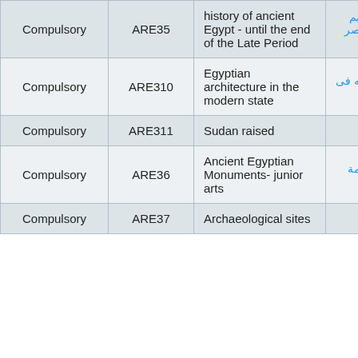| Type | Code | English | Arabic |
| --- | --- | --- | --- |
| Compulsory | ARE35 | history of ancient Egypt - until the end of the Late Period | تاريخ مصر القديم (وحتي نهاية العصر المتأخر) |
| Compulsory | ARE310 | Egyptian architecture in the modern state | العماره المصريه فى الدوله الحديثه |
| Compulsory | ARE311 | Sudan raised | آثار السودان |
| Compulsory | ARE36 | Ancient Egyptian Monuments- junior arts | آثار مصرية قديمة (فنون صغرى) |
| Compulsory | ARE37 | Archaeological sites | مواقع أثرية |